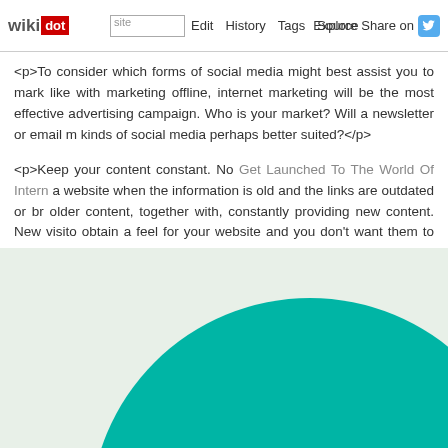wikidot | site | Edit | History | Tags | Source | Explore | Share on [Twitter]
<p>To consider which forms of social media might best assist you to market like with marketing offline, internet marketing will be the most effective advertising campaign. Who is your market? Will a newsletter or email m... kinds of social media perhaps better suited?</p>
<p>Keep your content constant. No Get Launched To The World Of Intern... a website when the information is old and the links are outdated or br... older content, together with, constantly providing new content. New visito... obtain a feel for your website and you don't want them to be disappointed...</p>
<p>Ascertain that the style of your website is appealing and will not detra... should match identically, as you don't want to advertise an outdated edit... modern and appealing as possible for a comfortable viewing experience.<</p>
[Figure (illustration): Decorative bottom section with light green background and a large teal/turquoise circle partially visible]